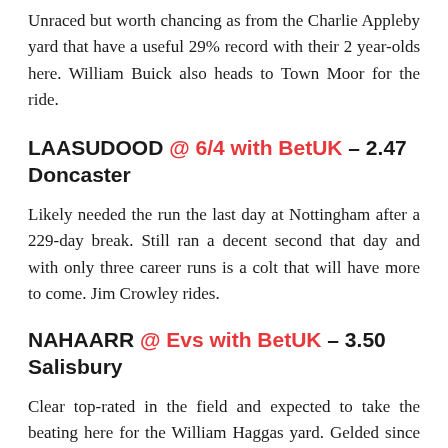Unraced but worth chancing as from the Charlie Appleby yard that have a useful 29% record with their 2 year-olds here. William Buick also heads to Town Moor for the ride.
LAASUDOOD @ 6/4 with BetUK – 2.47 Doncaster
Likely needed the run the last day at Nottingham after a 229-day break. Still ran a decent second that day and with only three career runs is a colt that will have more to come. Jim Crowley rides.
NAHAARR @ Evs with BetUK – 3.50 Salisbury
Clear top-rated in the field and expected to take the beating here for the William Haggas yard. Gelded since his last run and that was a fair 7th – only beaten 4 1/4